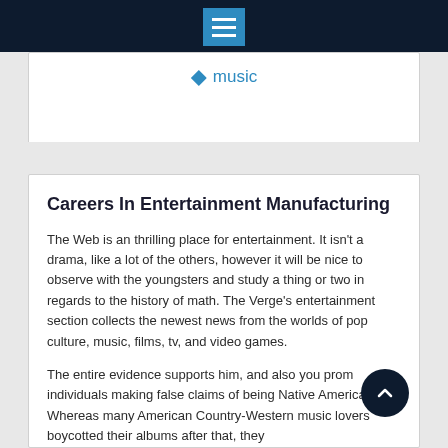music
Careers In Entertainment Manufacturing
The Web is an thrilling place for entertainment. It isn't a drama, like a lot of the others, however it will be nice to observe with the youngsters and study a thing or two in regards to the history of math. The Verge's entertainment section collects the newest news from the worlds of pop culture, music, films, tv, and video games.
The entire evidence supports him, and also you prom individuals making false claims of being Native American. Whereas many American Country-Western music lovers boycotted their albums after that, they